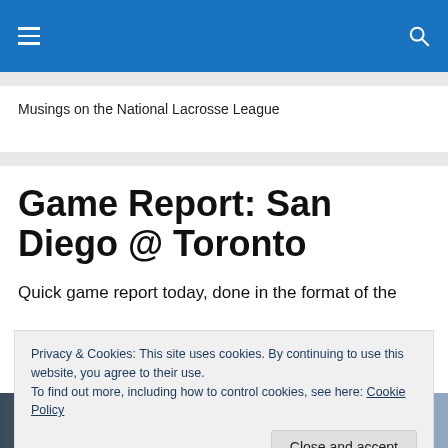Musings on the National Lacrosse League
Game Report: San Diego @ Toronto
Quick game report today, done in the format of the
Privacy & Cookies: This site uses cookies. By continuing to use this website, you agree to their use.
To find out more, including how to control cookies, see here: Cookie Policy
[Close and accept]
[Figure (photo): Partial view of a lacrosse player at bottom of page]